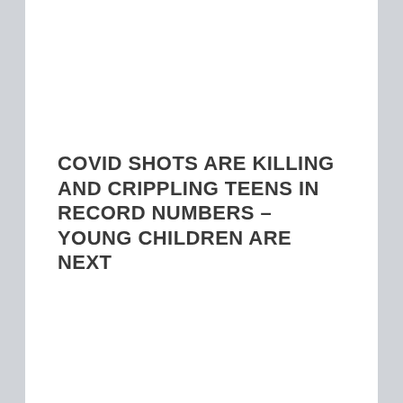COVID SHOTS ARE KILLING AND CRIPPLING TEENS IN RECORD NUMBERS – YOUNG CHILDREN ARE NEXT